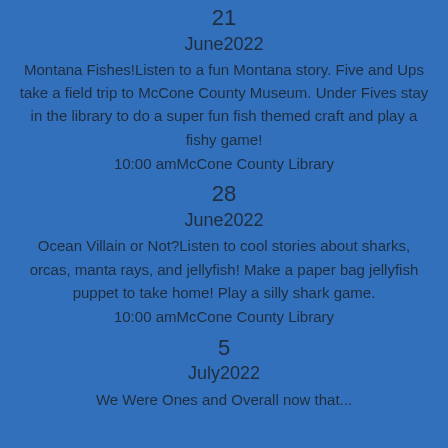21
June2022
Montana Fishes!Listen to a fun Montana story. Five and Ups take a field trip to McCone County Museum. Under Fives stay in the library to do a super fun fish themed craft and play a fishy game!
10:00 amMcCone County Library
28
June2022
Ocean Villain or Not?Listen to cool stories about sharks, orcas, manta rays, and jellyfish! Make a paper bag jellyfish puppet to take home! Play a silly shark game.
10:00 amMcCone County Library
5
July2022
We Were Ones and Overall now that...